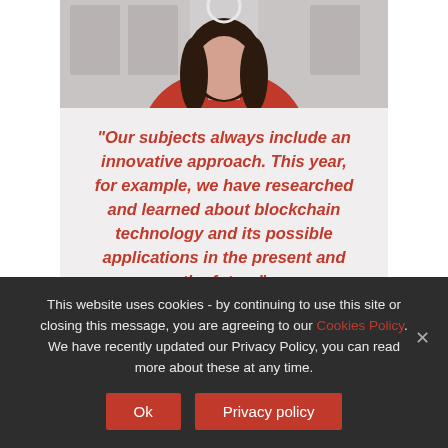[Figure (photo): Partial photo of a person wearing a red sweater with dark hair, cropped at top of frame]
"Our subjects always include an innovative approach. This year, for example, we have researched and learned about blockchain technology and its possible applications in the present and the future"
Helena, Middle Years Student
This website uses cookies - by continuing to use this site or closing this message, you are agreeing to our Cookies Policy. We have recently updated our Privacy Policy, you can read more about these at any time.
Ok
Privacy policy